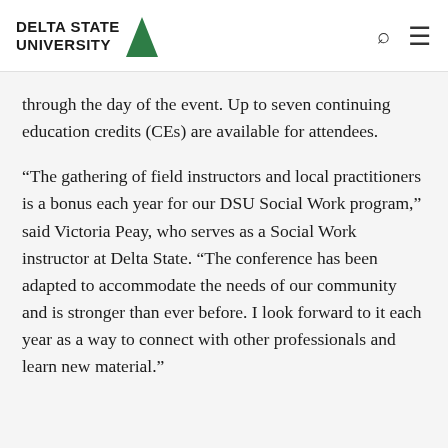DELTA STATE UNIVERSITY
through the day of the event. Up to seven continuing education credits (CEs) are available for attendees.
“The gathering of field instructors and local practitioners is a bonus each year for our DSU Social Work program,” said Victoria Peay, who serves as a Social Work instructor at Delta State. “The conference has been adapted to accommodate the needs of our community and is stronger than ever before. I look forward to it each year as a way to connect with other professionals and learn new material.”